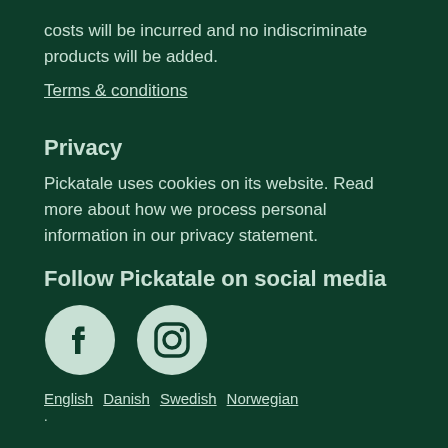costs will be incurred and no indiscriminate products will be added.
Terms & conditions
Privacy
Pickatale uses cookies on its website. Read more about how we process personal information in our privacy statement.
Follow Pickatale on social media
[Figure (logo): Facebook icon circle and Instagram icon circle]
English   Danish   Swedish   Norwegian